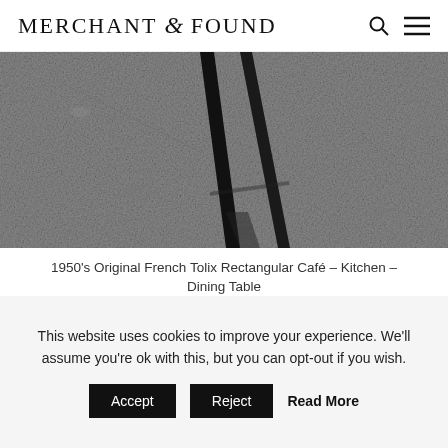MERCHANT & FOUND
[Figure (photo): Close-up photo of black metal table legs on a grey concrete/stone surface, showing the base of a Tolix-style café table.]
1950's Original French Tolix Rectangular Café – Kitchen – Dining Table
£595.00
View Product
This website uses cookies to improve your experience. We'll assume you're ok with this, but you can opt-out if you wish.
Accept  Reject  Read More